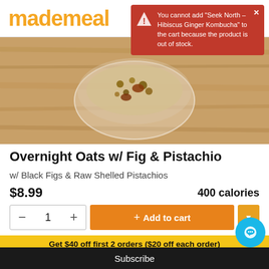mademeal
[Figure (screenshot): Toast error notification: You cannot add "Seek North - Hibiscus Ginger Kombucha" to the cart because the product is out of stock.]
[Figure (photo): Product photo showing overnight oats with figs and pistachios in a clear container on a wooden surface]
Overnight Oats w/ Fig & Pistachio
w/ Black Figs & Raw Shelled Pistachios
$8.99    400 calories
[Figure (screenshot): Add to cart UI with quantity selector (minus, 1, plus), orange Add to cart button, and dropdown arrow]
Get $40 off first 2 orders ($20 off each order)
Your email address..
Subscribe